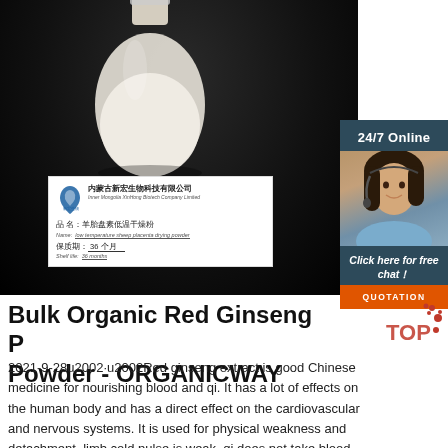[Figure (photo): Product photo showing a glass bottle containing white powder on a dark background, with a product label card showing company name Inner Mongolia XinHong Biotech Company Limited, product name low temperature sheep placenta drying powder, shelf life 36 months]
Bulk Organic Red Ginseng Powder - ORGANICWAY
2021-9-28u2002·u2002Red ginseng extract is good Chinese medicine for nourishing blood and qi. It has a lot of effects on the human body and has a direct effect on the cardiovascular and nervous systems. It is used for physical weakness and detachment, limb cold pulse is weak, qi does not take blood